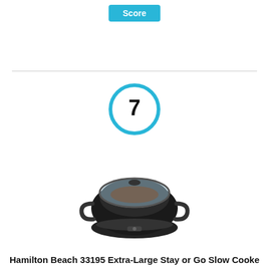Score
[Figure (other): Score badge circle with number 7 in sky blue circular ring]
[Figure (photo): Hamilton Beach black slow cooker with glass lid, front-facing product photo]
Hamilton Beach 33195 Extra-Large Stay or Go Slow Cooke 10 Quart Capacity Black
By Hamilton Beach